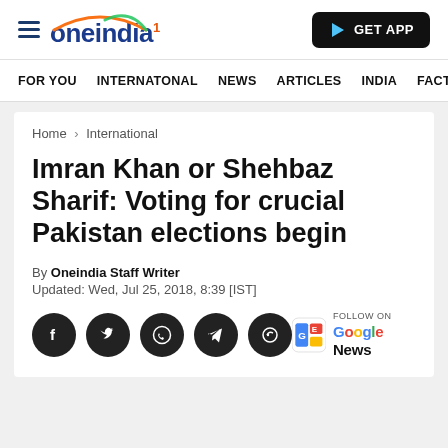oneindia — GET APP
FOR YOU   INTERNATONAL   NEWS   ARTICLES   INDIA   FACT
Home > International
Imran Khan or Shehbaz Sharif: Voting for crucial Pakistan elections begin
By Oneindia Staff Writer
Updated: Wed, Jul 25, 2018, 8:39 [IST]
[Figure (other): Social share icons: Facebook, Twitter, WhatsApp, Telegram, and another app, plus Follow on Google News button]